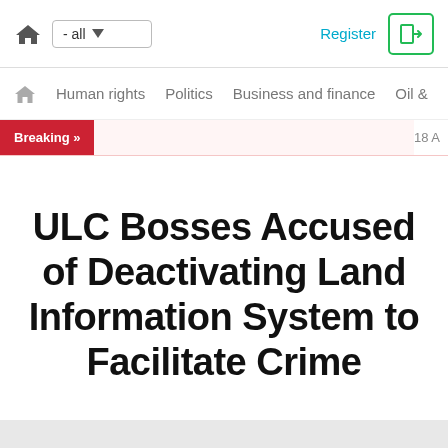Home | - all | Register | Login
Human rights | Politics | Business and finance | Oil &
Breaking >> | 18 A
ULC Bosses Accused of Deactivating Land Information System to Facilitate Crime